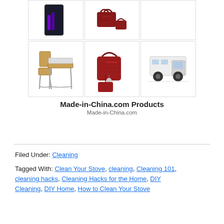[Figure (photo): Grid of product photos: top row shows a dark phone/tablet, a red crocodile-pattern handbag set, and an empty white cell; bottom row shows a school desk and chair, a red handbag set with multiple bags, and a truck camper vehicle.]
Made-in-China.com Products
Made-in-China.com
Filed Under: Cleaning
Tagged With: Clean Your Stove, cleaning, Cleaning 101, cleaning hacks, Cleaning Hacks for the Home, DIY Cleaning, DIY Home, How to Clean Your Stove